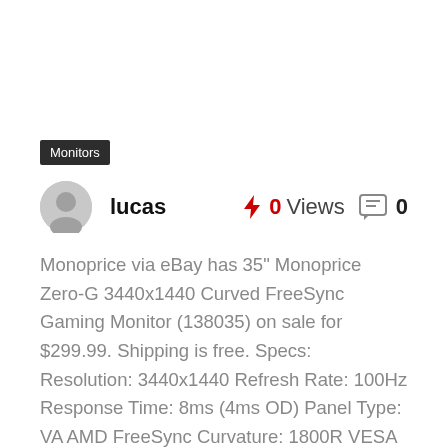Monitors
lucas
0 Views   0
Monoprice via eBay has 35" Monoprice Zero-G 3440x1440 Curved FreeSync Gaming Monitor (138035) on sale for $299.99. Shipping is free. Specs: Resolution: 3440x1440 Refresh Rate: 100Hz Response Time: 8ms (4ms OD) Panel Type: VA AMD FreeSync Curvature: 1800R VESA Mount Compatible Ports: 1x DisplayPort
...